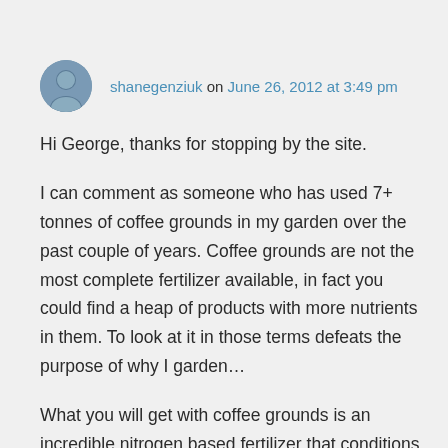shanegenziuk on June 26, 2012 at 3:49 pm
Hi George, thanks for stopping by the site.
I can comment as someone who has used 7+ tonnes of coffee grounds in my garden over the past couple of years. Coffee grounds are not the most complete fertilizer available, in fact you could find a heap of products with more nutrients in them. To look at it in those terms defeats the purpose of why I garden...
What you will get with coffee grounds is an incredible nitrogen based fertilizer that conditions the soil unlike anything else I